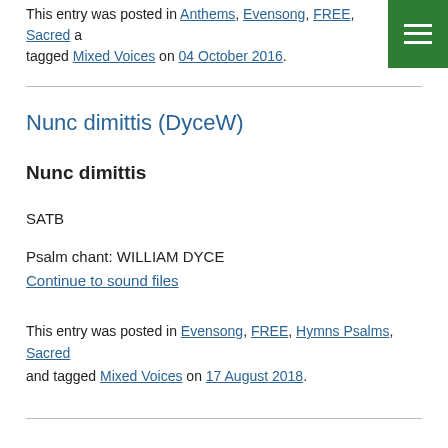This entry was posted in Anthems, Evensong, FREE, Sacred and tagged Mixed Voices on 04 October 2016.
Nunc dimittis (DyceW)
Nunc dimittis
SATB
Psalm chant: WILLIAM DYCE
Continue to sound files
This entry was posted in Evensong, FREE, Hymns Psalms, Sacred and tagged Mixed Voices on 17 August 2018.